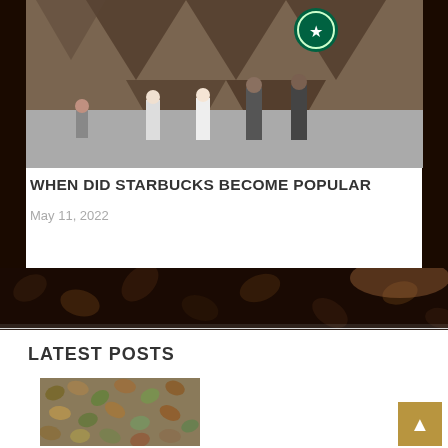[Figure (photo): Starbucks store exterior with triangular wood lattice facade, Starbucks logo visible, people standing outside]
WHEN DID STARBUCKS BECOME POPULAR
May 11, 2022
[Figure (photo): Dark coffee beans background with bokeh and brown tones]
LATEST POSTS
[Figure (photo): Mixed green and brown coffee beans close-up]